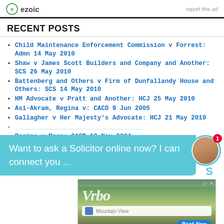ezoic | report this ad
RECENT POSTS
Child Maintenance Enforcement Commission v Forrest: Admn 14 May 2010
Shaw v James Scott Builders and Company and Another: SCS 26 May 2010
Battenberg and Others v Firm of Dunfallandy House and Others: SCS 14 May 2010
HM Advocate v Pratt and Another: HCJ 25 May 2010
Asi-Akram, Regina v: CACD 9 Jun 2005
Gallagher v Her Majesty's Advocate: HCJ 21 May 2010
Regina v Moon: CACD 10 Nov 2004
[Figure (screenshot): Chat overlay: 'Want to ask a Solicitor online now? I can connect you ...' with avatar of a woman]
[Figure (screenshot): Vrbo advertisement banner with Mountain View search field and Book Now button]